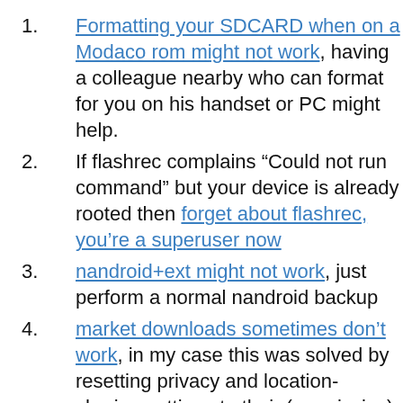Formatting your SDCARD when on a Modaco rom might not work, having a colleague nearby who can format for you on his handset or PC might help.
If flashrec complains “Could not run command” but your device is already rooted then forget about flashrec, you’re a superuser now
nandroid+ext might not work, just perform a normal nandroid backup
market downloads sometimes don’t work, in my case this was solved by resetting privacy and location-sharing settings to their (permissive) default settings
Villainrom provides OTA-updates, but they are not always applied...